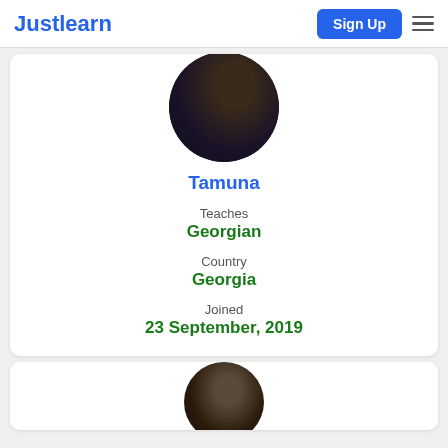Justlearn
[Figure (photo): Circular profile photo of Tamuna, a woman in dark clothing against a dark background]
Tamuna
Teaches
Georgian
Country
Georgia
Joined
23 September, 2019
[Figure (photo): Partial circular profile photo of a second tutor at the bottom of the page]